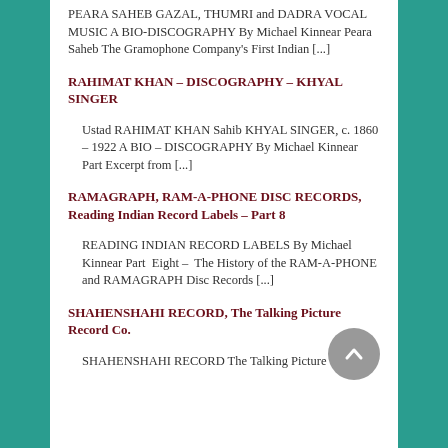PEARA SAHEB GAZAL, THUMRI and DADRA VOCAL MUSIC A BIO-DISCOGRAPHY By Michael Kinnear Peara Saheb The Gramophone Company's First Indian [...]
RAHIMAT KHAN – DISCOGRAPHY – KHYAL SINGER
Ustad RAHIMAT KHAN Sahib KHYAL SINGER, c. 1860 – 1922 A BIO – DISCOGRAPHY By Michael Kinnear Part Excerpt from [...]
RAMAGRAPH, RAM-A-PHONE DISC RECORDS, Reading Indian Record Labels – Part 8
READING INDIAN RECORD LABELS By Michael Kinnear Part  Eight –  The History of the RAM-A-PHONE and RAMAGRAPH Disc Records [...]
SHAHENSHAHI RECORD, The Talking Picture Record Co.
SHAHENSHAHI RECORD The Talking Picture